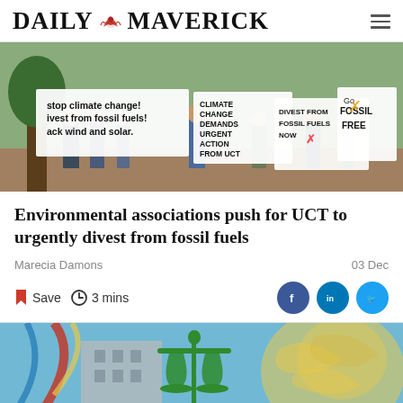DAILY MAVERICK
[Figure (photo): Protesters holding signs about stopping climate change, divesting from fossil fuels, and going fossil free, standing outdoors near trees.]
Environmental associations push for UCT to urgently divest from fossil fuels
Marecia Damons
03 Dec
Save   3 mins
[Figure (illustration): Colorful mural illustration featuring a green scales of justice figure against a blue background with yellow and red design elements and a building.]